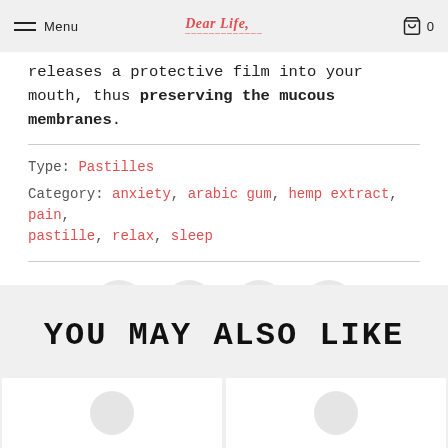Menu | Dear Life, | 0
releases a protective film into your mouth, thus preserving the mucous membranes.
Type: Pastilles
Category: anxiety, arabic gum, hemp extract, pain, pastille, relax, sleep
[Figure (infographic): Row of four social share buttons (Twitter, Facebook, Pinterest, Email) as circular grey icons]
YOU MAY ALSO LIKE
[Figure (photo): Two blurred product thumbnail images at the bottom of the page]